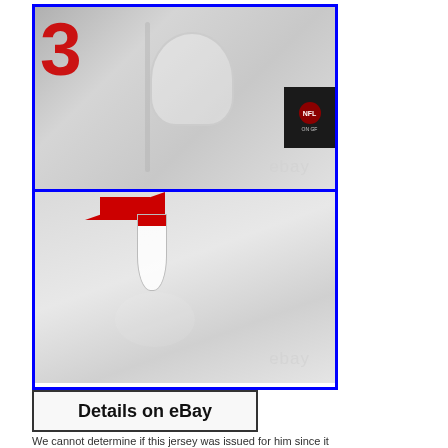[Figure (photo): Two close-up photos of a white NFL football jersey showing the collar area, a red number, and an NFL on-field tag. Top photo shows jersey number in red and the collar with NFL tag visible. Bottom photo shows the collar/neckline area with red accent.]
Details on eBay
We cannot determine if this jersey was issued for him since it